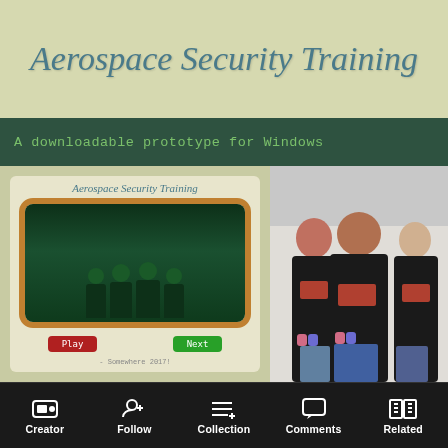Aerospace Security Training
A downloadable prototype for Windows
[Figure (screenshot): Game screenshot showing Aerospace Security Training title with green-screen style display of four people and red/green buttons below]
[Figure (photo): Photo of three people wearing matching black t-shirts with UFO logo, standing against a white wall]
This prototype was created for Nordic Game Jam 2017. It was made in 48h, with no post-jam work done, and is
Creator   Follow   Collection   Comments   Related